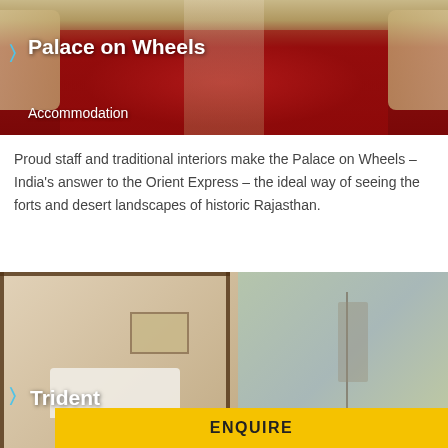[Figure (photo): Interior of Palace on Wheels luxury train showing ornate red carpet, cream sofas and traditional decor]
Palace on Wheels
Accommodation
Proud staff and traditional interiors make the Palace on Wheels – India's answer to the Orient Express – the ideal way of seeing the forts and desert landscapes of historic Rajasthan.
[Figure (photo): Hotel room showing bed, furniture and window view, with Enquire button overlay]
Trident
ENQUIRE